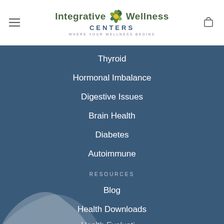[Figure (logo): Integrative Wellness Centers logo with flower icon and tagline 'WHERE YOUR WELLNESS BEGINS']
Thyroid
Hormonal Imbalance
Digestive Issues
Brain Health
Diabetes
Autoimmune
RESOURCES
Blog
Health Downloads
Health Evaluati…